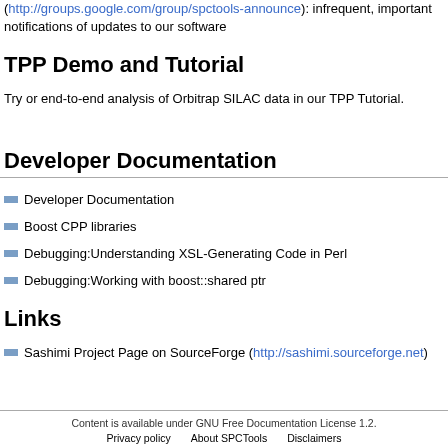(http://groups.google.com/group/spctools-announce): infrequent, important notifications of updates to our software
TPP Demo and Tutorial
Try or end-to-end analysis of Orbitrap SILAC data in our TPP Tutorial.
Developer Documentation
Developer Documentation
Boost CPP libraries
Debugging:Understanding XSL-Generating Code in Perl
Debugging:Working with boost::shared ptr
Links
Sashimi Project Page on SourceForge (http://sashimi.sourceforge.net)
Content is available under GNU Free Documentation License 1.2.
Privacy policy   About SPCTools   Disclaimers